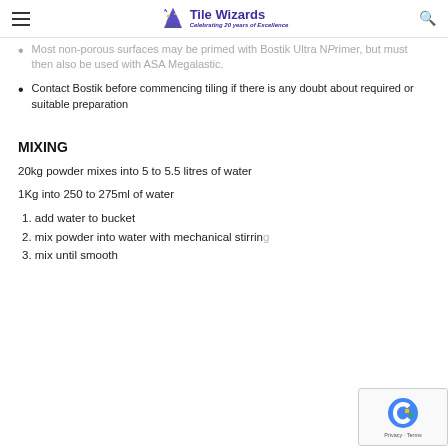Tile Wizards — Celebrating 20 years of Excellence
Most non-porous surfaces may be primed with Bostik Ultra N Primer, but must then also be used with ASA Megalastic.
Contact Bostik before commencing tiling if there is any doubt about required or suitable preparation
MIXING
20kg powder mixes into 5 to 5.5 litres of water
1Kg into 250 to 275ml of water
1. add water to bucket
2. mix powder into water with mechanical stirring
3. mix until smooth